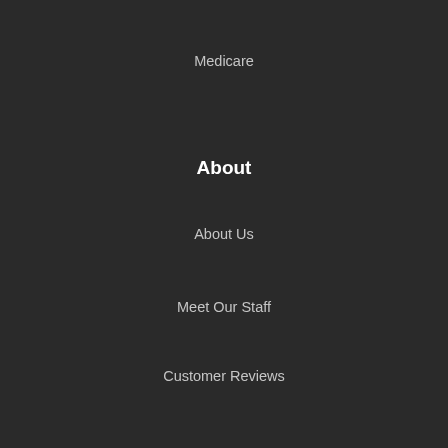Medicare
About
About Us
Meet Our Staff
Customer Reviews
Insurance Companies
Insurance Blog